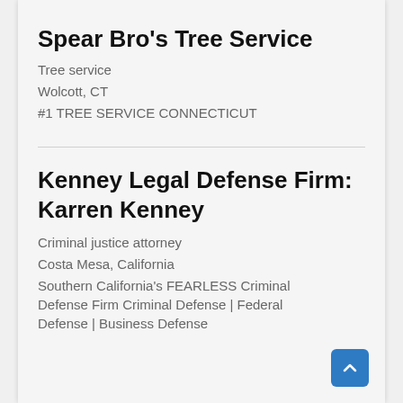Spear Bro's Tree Service
Tree service
Wolcott, CT
#1 TREE SERVICE CONNECTICUT
Kenney Legal Defense Firm: Karren Kenney
Criminal justice attorney
Costa Mesa, California
Southern California's FEARLESS Criminal Defense Firm Criminal Defense | Federal Defense | Business Defense